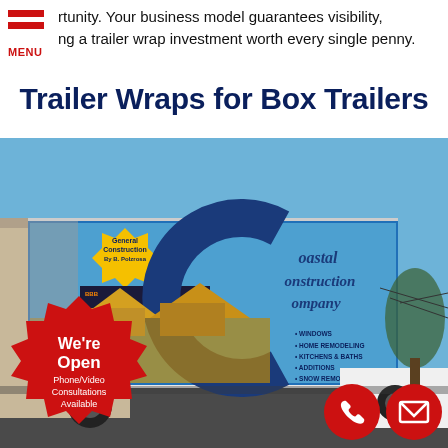rtunity. Your business model guarantees visibility, ng a trailer wrap investment worth every single penny.
Trailer Wraps for Box Trailers
[Figure (photo): A box trailer with a vinyl wrap for Coastal Construction Company showing phone number 456-9203, General Construction by B. Pelzrosa, and images of houses under construction. A red starburst badge reads We're Open, Phone/Video Consultations Available. Two red circle icons for phone and email at bottom right.]